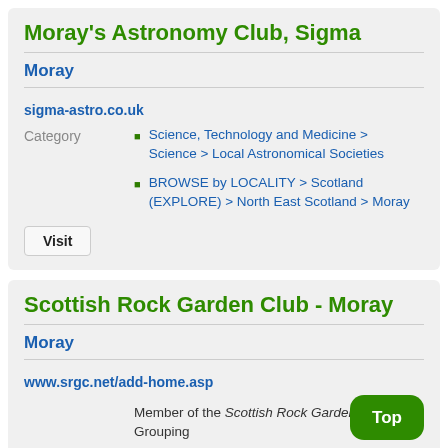Moray's Astronomy Club, Sigma
Moray
sigma-astro.co.uk
Science, Technology and Medicine > Science > Local Astronomical Societies
BROWSE by LOCALITY > Scotland (EXPLORE) > North East Scotland > Moray
Scottish Rock Garden Club - Moray
Moray
www.srgc.net/add-home.asp
Member of the Scottish Rock Garden Club Grouping